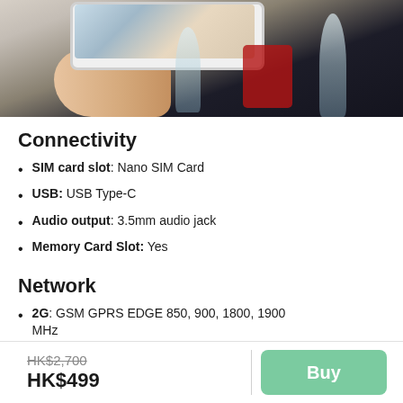[Figure (photo): A hand holding a smartphone photographing a restaurant table scene with wine glasses and red decorative items]
Connectivity
SIM card slot:  Nano SIM Card
USB: USB Type-C
Audio output: 3.5mm audio jack
Memory Card Slot: Yes
Network
2G: GSM GPRS EDGE 850, 900, 1800, 1900 MHz
3G: UMTS HSDPA UMTS 8xx, 9xx, xxx, x1xx
HK$2,700
HK$499
Buy